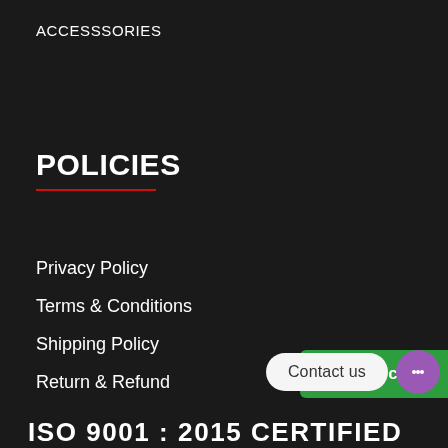ACCESSSORIES
POLICIES
Privacy Policy
Terms & Conditions
Shipping Policy
Return & Refund
Add to cart
Contact us
ISO 9001 : 2015 CERTIFIED